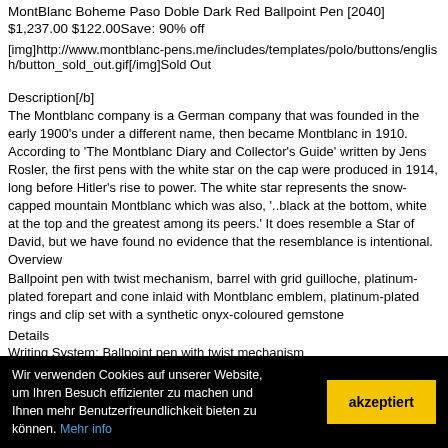MontBlanc Boheme Paso Doble Dark Red Ballpoint Pen [2040]
$1,237.00 $122.00Save: 90% off
[img]http://www.montblanc-pens.me/includes/templates/polo/buttons/english/button_sold_out.gif[/img]Sold Out
Description[/b]
The Montblanc company is a German company that was founded in the early 1900's under a different name, then became Montblanc in 1910. According to 'The Montblanc Diary and Collector's Guide' written by Jens Rosler, the first pens with the white star on the cap were produced in 1914, long before Hitler's rise to power. The white star represents the snow-capped mountain Montblanc which was also, '..black at the bottom, white at the top and the greatest among its peers.' It does resemble a Star of David, but we have found no evidence that the resemblance is intentional. Overview
Ballpoint pen with twist mechanism, barrel with grid guilloche, platinum-plated forepart and cone inlaid with Montblanc emblem, platinum-plated rings and clip set with a synthetic onyx-coloured gemstone
Details
Writing System: Ballpoint pen with twist mechanism
Wir verwenden Cookies auf unserer Website, um Ihren Besuch effizienter zu machen und Ihnen mehr Benutzerfreundlichkeit bieten zu können. Mehr info
akzeptiert